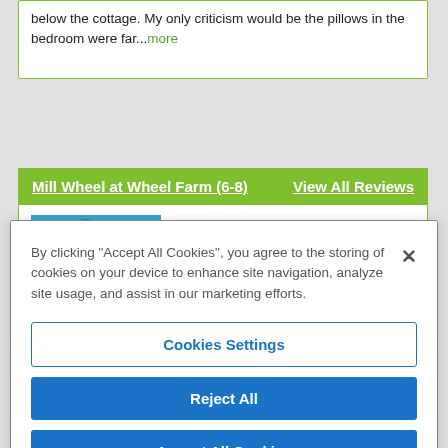below the cottage. My only criticism would be the pillows in the bedroom were far...more
Mill Wheel at Wheel Farm (6-8)    View All Reviews
Latest Review - July 2022
By clicking "Accept All Cookies", you agree to the storing of cookies on your device to enhance site navigation, analyze site usage, and assist in our marketing efforts.
Cookies Settings
Reject All
Accept All Cookies